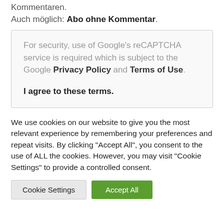Kommentaren.
Auch möglich: Abo ohne Kommentar.
For security, use of Google's reCAPTCHA service is required which is subject to the Google Privacy Policy and Terms of Use.

I agree to these terms.
We use cookies on our website to give you the most relevant experience by remembering your preferences and repeat visits. By clicking "Accept All", you consent to the use of ALL the cookies. However, you may visit "Cookie Settings" to provide a controlled consent.
Cookie Settings
Accept All